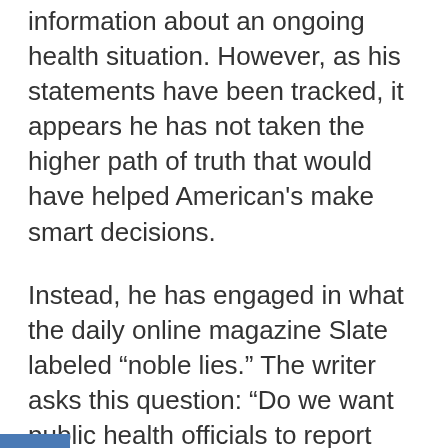information about an ongoing health situation. However, as his statements have been tracked, it appears he has not taken the higher path of truth that would have helped American's make smart decisions.
Instead, he has engaged in what the daily online magazine Slate labeled “noble lies.” The writer asks this question: “Do we want public health officials to report facts and uncertainties transparently? Or do we want them to shape information?”¹
Although this is a question only you can answer for yourself, Fauci’s inaccurate